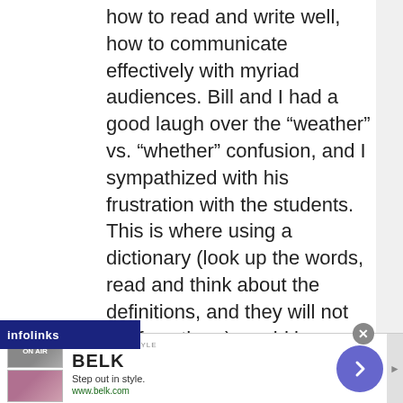how to read and write well, how to communicate effectively with myriad audiences. Bill and I had a good laugh over the “weather” vs. “whether” confusion, and I sympathized with his frustration with the students. This is where using a dictionary (look up the words, read and think about the definitions, and they will not confuse them) would have helped them. I backed Bill, and the students were very angry. “It is a public health course, not an
[Figure (other): Infolinks advertisement banner with 'BELK - Step out in style' ad showing clothing images and www.belk.com URL]